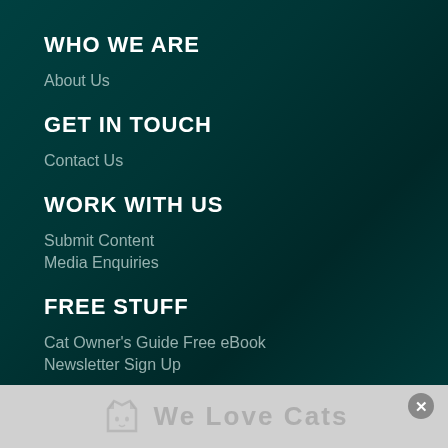WHO WE ARE
About Us
GET IN TOUCH
Contact Us
WORK WITH US
Submit Content
Media Enquiries
FREE STUFF
Cat Owner's Guide Free eBook
Newsletter Sign Up
We Love Cats